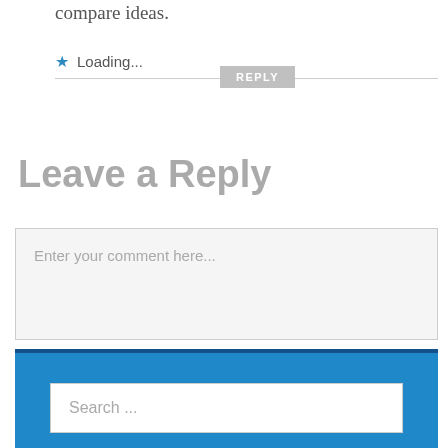compare ideas.
Loading...
Leave a Reply
Enter your comment here...
Search ...